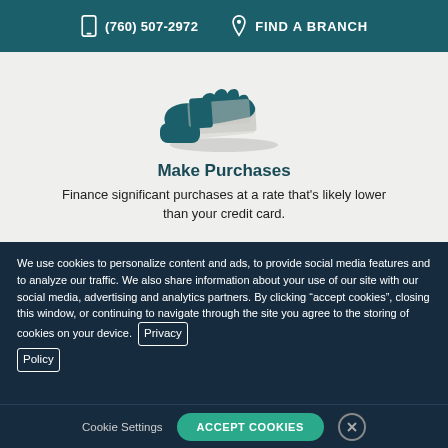(760) 507-2972   FIND A BRANCH
[Figure (illustration): Hand holding out money/card icon in teal color on light gray background]
Make Purchases
Finance significant purchases at a rate that's likely lower than your credit card.
We use cookies to personalize content and ads, to provide social media features and to analyze our traffic. We also share information about your use of our site with our social media, advertising and analytics partners. By clicking “accept cookies”, closing this window, or continuing to navigate through the site you agree to the storing of cookies on your device. Privacy Policy
Cookie Settings   ACCEPT COOKIES